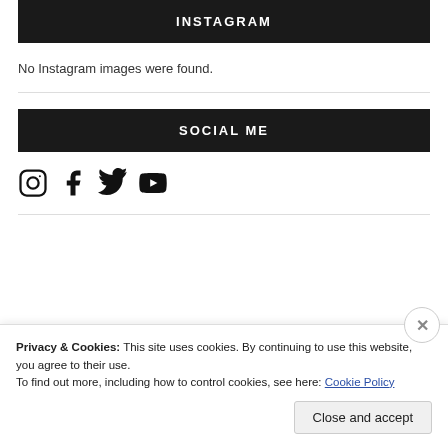INSTAGRAM
No Instagram images were found.
SOCIAL ME
[Figure (infographic): Social media icons: Instagram, Facebook, Twitter, YouTube]
Privacy & Cookies: This site uses cookies. By continuing to use this website, you agree to their use.
To find out more, including how to control cookies, see here: Cookie Policy
Close and accept